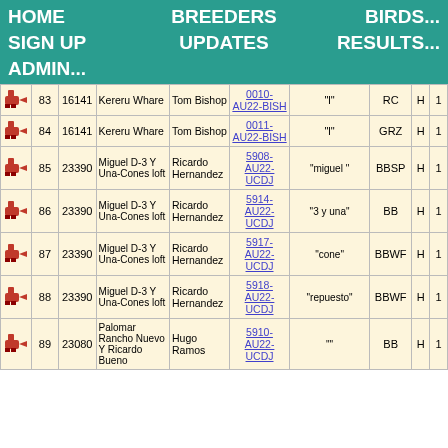HOME   BREEDERS   BIRDS...   SIGN UP   UPDATES   RESULTS...   ADMIN...
|  | # | ID | Loft | Breeder | Band | Name | Color | Sex | Pts |
| --- | --- | --- | --- | --- | --- | --- | --- | --- | --- |
| [icon] | 83 | 16141 | Kereru Whare | Tom Bishop | 0010-AU22-BISH | "l" | RC | H | 1 |
| [icon] | 84 | 16141 | Kereru Whare | Tom Bishop | 0011-AU22-BISH | "l" | GRZ | H | 1 |
| [icon] | 85 | 23390 | Miguel D-3 Y Una-Cones loft | Ricardo Hernandez | 5908-AU22-UCDJ | "miguel " | BBSP | H | 1 |
| [icon] | 86 | 23390 | Miguel D-3 Y Una-Cones loft | Ricardo Hernandez | 5914-AU22-UCDJ | "3 y una" | BB | H | 1 |
| [icon] | 87 | 23390 | Miguel D-3 Y Una-Cones loft | Ricardo Hernandez | 5917-AU22-UCDJ | "cone" | BBWF | H | 1 |
| [icon] | 88 | 23390 | Miguel D-3 Y Una-Cones loft | Ricardo Hernandez | 5918-AU22-UCDJ | "repuesto" | BBWF | H | 1 |
| [icon] | 89 | 23080 | Palomar Rancho Nuevo Y Ricardo Bueno | Hugo Ramos | 5910-AU22-UCDJ | "" | BB | H | 1 |